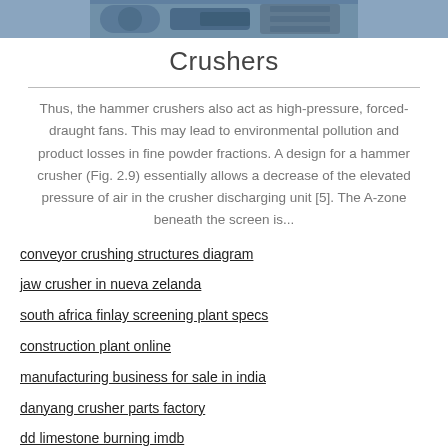[Figure (photo): Top portion of a photo showing industrial crusher machinery equipment]
Crushers
Thus, the hammer crushers also act as high-pressure, forced-draught fans. This may lead to environmental pollution and product losses in fine powder fractions. A design for a hammer crusher (Fig. 2.9) essentially allows a decrease of the elevated pressure of air in the crusher discharging unit [5]. The A-zone beneath the screen is...
conveyor crushing structures diagram
jaw crusher in nueva zelanda
south africa finlay screening plant specs
construction plant online
manufacturing business for sale in india
danyang crusher parts factory
dd limestone burning imdb